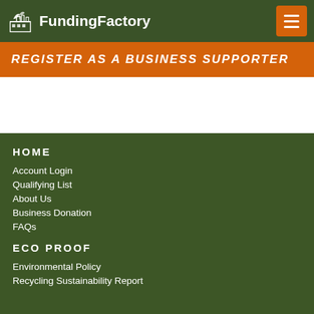FundingFactory
REGISTER AS A BUSINESS SUPPORTER
HOME
Account Login
Qualifying List
About Us
Business Donation
FAQs
ECO PROOF
Environmental Policy
Recycling Sustainability Report